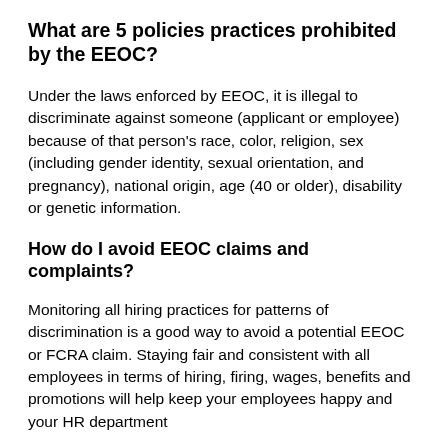What are 5 policies practices prohibited by the EEOC?
Under the laws enforced by EEOC, it is illegal to discriminate against someone (applicant or employee) because of that person's race, color, religion, sex (including gender identity, sexual orientation, and pregnancy), national origin, age (40 or older), disability or genetic information.
How do I avoid EEOC claims and complaints?
Monitoring all hiring practices for patterns of discrimination is a good way to avoid a potential EEOC or FCRA claim. Staying fair and consistent with all employees in terms of hiring, firing, wages, benefits and promotions will help keep your employees happy and your HR department